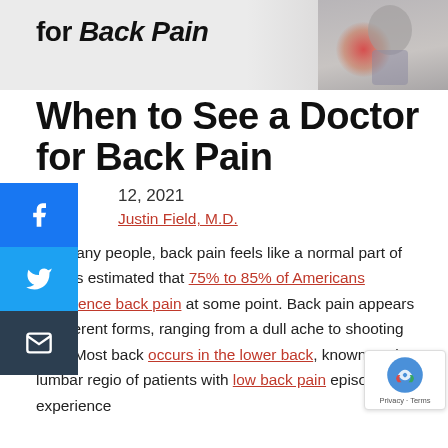[Figure (photo): Top banner image showing text 'for Back Pain' in bold italic and a person holding their lower back with a red pain highlight glow effect on a grey background]
When to See a Doctor for Back Pain
12, 2021
Justin Field, M.D.
For many people, back pain feels like a normal part of life. It's estimated that 75% to 85% of Americans experience back pain at some point. Back pain appears in different forms, ranging from a dull ache to shooting pain. Most back occurs in the lower back, known as the lumbar regio of patients with low back pain episodes will experience